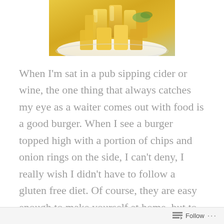[Figure (photo): Close-up photo of thick-cut chips (french fries) piled on a white plate, partially visible, shot from above at an angle. Golden yellow color with slight green garnish visible in background.]
When I'm sat in a pub sipping cider or wine, the one thing that always catches my eye as a waiter comes out with food is a good burger. When I see a burger topped high with a portion of chips and onion rings on the side, I can't deny, I really wish I didn't have to follow a gluten free diet. Of course, they are easy enough to make yourself at home, but to me, when I think back to when I could eat normally, the
Follow ...